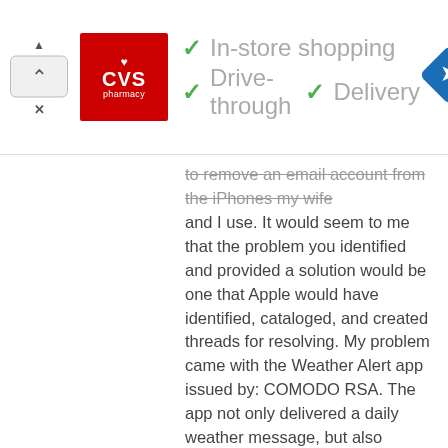[Figure (infographic): CVS Pharmacy advertisement banner showing red CVS logo, green checkmarks with 'In-store shopping', 'Drive-through', 'Delivery' text, and a blue navigation diamond icon]
to remove an email account from the iPhones my wife and I use. It would seem to me that the problem you identified and provided a solution would be one that Apple would have identified, cataloged, and created threads for resolving. My problem came with the Weather Alert app issued by: COMODO RSA. The app not only delivered a daily weather message, but also created a steady flow of spam. I think is may have evolved from another NOAA Weather app I tired to use with out satisfaction. iTunes needs to do a better job of scanning their apps to keep this from happening. Once again, thank you Paul.
Reply
Tami
April 4, 2016
Thank you so much. Could figure out how to delete an email I didn't know was added. Thanks again
Reply